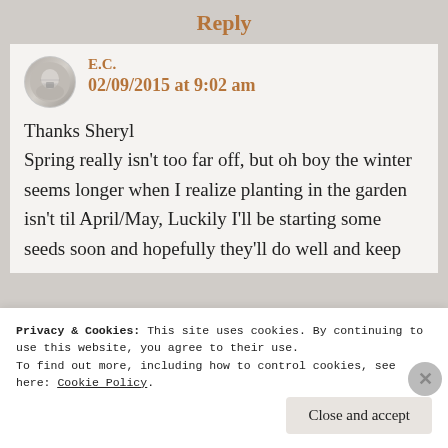Reply
E.C.
02/09/2015 at 9:02 am
Thanks Sheryl Spring really isn’t too far off, but oh boy the winter seems longer when I realize planting in the garden isn’t til April/May, Luckily I’ll be starting some seeds soon and hopefully they’ll do well and keep
Privacy & Cookies: This site uses cookies. By continuing to use this website, you agree to their use.
To find out more, including how to control cookies, see here: Cookie Policy.